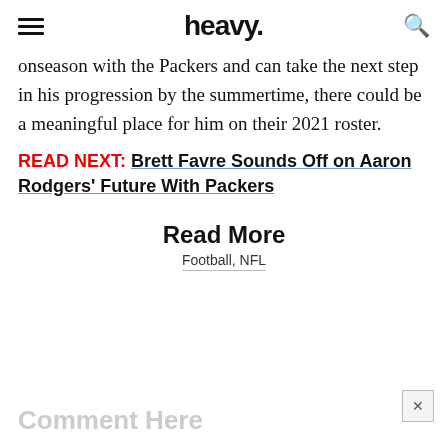heavy.
onseason with the Packers and can take the next step in his progression by the summertime, there could be a meaningful place for him on their 2021 roster.
READ NEXT: Brett Favre Sounds Off on Aaron Rodgers' Future With Packers
Read More
Football, NFL
Comment Here